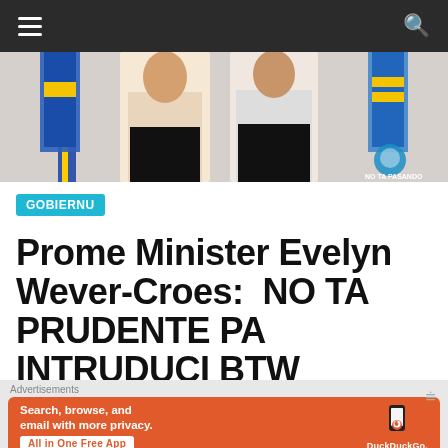Navigation bar with hamburger menu and search icon
[Figure (photo): Two people standing in front of flags, partially cropped. A watermark globe logo visible at bottom right of the image.]
GOBIERNU
Prome Minister Evelyn Wever-Croes:  NO TA PRUDENTE PA INTRUDUCI BTW ENTRANTE 1 DI JANUARI
Advertisements
[Figure (screenshot): DuckDuckGo advertisement banner. Text: Search, browse, and email with more privacy. All in One Free App. DuckDuckGo logo and phone graphic shown.]